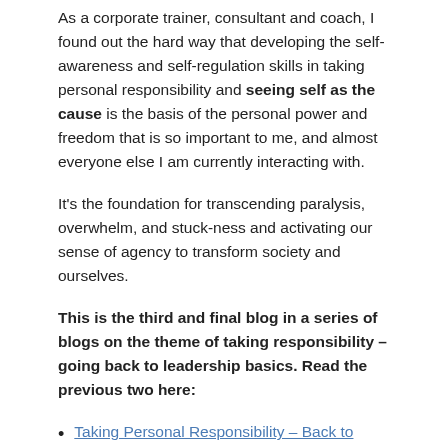As a corporate trainer, consultant and coach, I found out the hard way that developing the self-awareness and self-regulation skills in taking personal responsibility and seeing self as the cause is the basis of the personal power and freedom that is so important to me, and almost everyone else I am currently interacting with.
It's the foundation for transcending paralysis, overwhelm, and stuck-ness and activating our sense of agency to transform society and ourselves.
This is the third and final blog in a series of blogs on the theme of taking responsibility – going back to leadership basics. Read the previous two here:
Taking Personal Responsibility – Back to Leadership Basics
Taking Personal Responsibility – Creating the Line of Choice